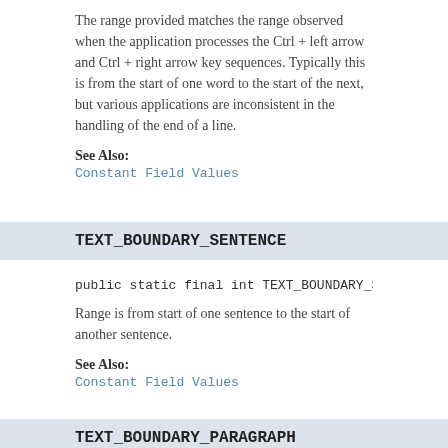The range provided matches the range observed when the application processes the Ctrl + left arrow and Ctrl + right arrow key sequences. Typically this is from the start of one word to the start of the next, but various applications are inconsistent in the handling of the end of a line.
See Also:
Constant Field Values
TEXT_BOUNDARY_SENTENCE
public static final int TEXT_BOUNDARY_SENTENCE
Range is from start of one sentence to the start of another sentence.
See Also:
Constant Field Values
TEXT_BOUNDARY_PARAGRAPH